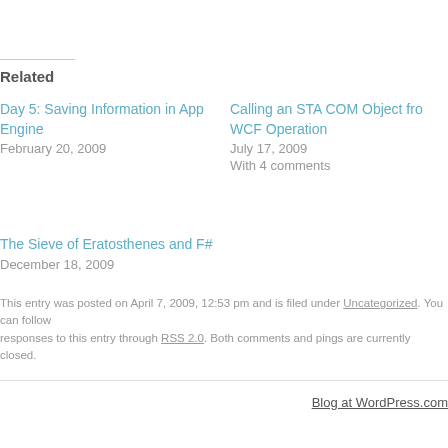Related
Day 5: Saving Information in App Engine
February 20, 2009
Calling an STA COM Object from a WCF Operation
July 17, 2009
With 4 comments
The Sieve of Eratosthenes and F#
December 18, 2009
This entry was posted on April 7, 2009, 12:53 pm and is filed under Uncategorized. You can follow responses to this entry through RSS 2.0. Both comments and pings are currently closed.
Blog at WordPress.com